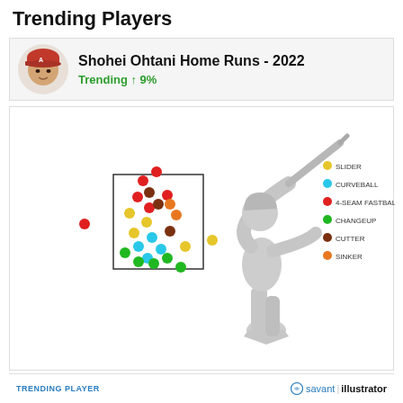Trending Players
Shohei Ohtani Home Runs - 2022
Trending ↑ 9%
[Figure (scatter-plot): Scatter plot showing home run pitch locations for Shohei Ohtani in 2022. Colored dots represent different pitch types: Slider (yellow), Curveball (cyan), 4-Seam Fastball (red), Changeup (green), Cutter (brown/dark red), Sinker (orange). A silhouette of a baseball batter is shown on the right side. Dots are clustered in and around the strike zone rectangle.]
TRENDING PLAYER   savant illustrator